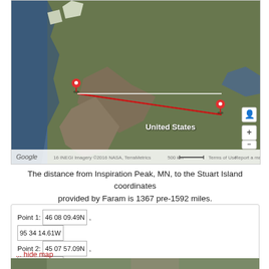[Figure (map): Google Maps satellite view of western North America showing a red line and two location pins connecting a point near Vancouver/British Columbia coast to a point in the north-central US (Inspiration Peak MN area to Stuart Island area). Labels include 'United States'. Map controls visible on right side. Attribution: 16 INEGI Imagery ©2016 NASA, TerraMetrics, 500 km scale bar, Terms of Use, Report a map error.]
The distance from Inspiration Peak, MN, to the Stuart Island coordinates provided by Faram is 1367 pre-1592 miles.
| Point | Coordinates | Metric | Value |
| --- | --- | --- | --- |
| Point 1: | 46 08 09.49N , 95 34 14.61W | Distance: | 2188 km (to 4 SF*) |
| Point 2: | 45 07 57.09N , 67 18 56.65W | Initial bearing: | 082° 38′ 52″ |
|  |  | Final bearing: | 103° 02′ 57″ |
|  |  | Midpoint: | 46° 30′ 48″ N, 081° 18′ 51″ W |
... hide map
[Figure (map): Bottom edge of another map image, partially visible.]